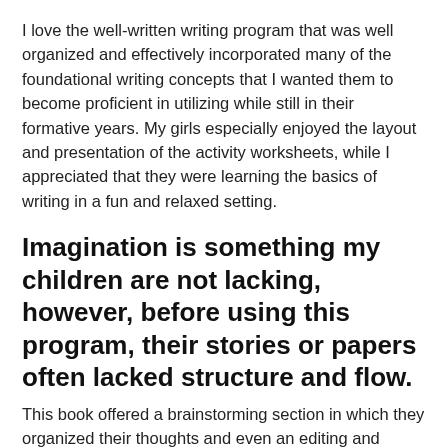I love the well-written writing program that was well organized and effectively incorporated many of the foundational writing concepts that I wanted them to become proficient in utilizing while still in their formative years. My girls especially enjoyed the layout and presentation of the activity worksheets, while I appreciated that they were learning the basics of writing in a fun and relaxed setting.
Imagination is something my children are not lacking, however, before using this program, their stories or papers often lacked structure and flow.
This book offered a brainstorming section in which they organized their thoughts and even an editing and revising section, which allowed them to analyze their own writing with my guidance. Each activity set was well presented and organized, which allowed me to easily grasp what was going to be covered each day. Overall, both my children and I enjoyed using